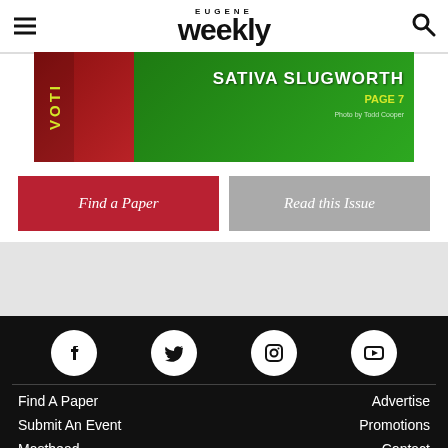Eugene Weekly
[Figure (photo): Eugene Weekly cover image featuring red and green background with 'VOTI' text, 'SATIVA SLUGWORTH' headline in white, 'PAGE 7' in yellow, photo credit 'Photo by Todd Cooper']
Find a Paper
Read this Issue
[Figure (infographic): Social media icons row: Facebook, Twitter, Instagram, YouTube — white circles on black background]
Find A Paper
Submit An Event
Masthead
Advertise
Promotions
Contact